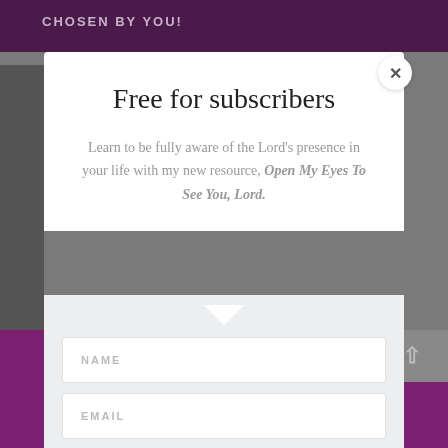CHOSEN BY YOU!
Free for subscribers
Learn to be fully aware of the Lord's presence in your life with my new resource, Open My Eyes To See You, Lord.
NAME
EMAIL
SUBSCRIBE!
Your information will be safe and never shared